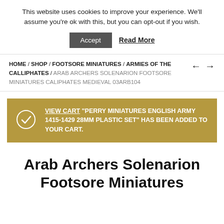This website uses cookies to improve your experience. We'll assume you're ok with this, but you can opt-out if you wish.
Accept  Read More
HOME / SHOP / FOOTSORE MINIATURES / ARMIES OF THE CALLIPHATES / ARAB ARCHERS SOLENARION FOOTSORE MINIATURES CALIPHATES MEDIEVAL 03ARB104
VIEW CART "PERRY MINIATURES ENGLISH ARMY 1415-1429 28MM PLASTIC SET" HAS BEEN ADDED TO YOUR CART.
Arab Archers Solenarion Footsore Miniatures